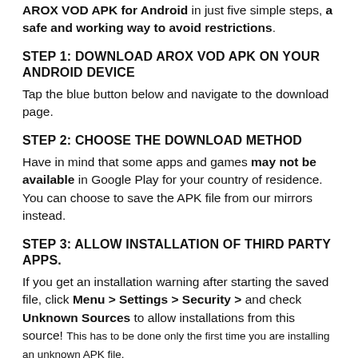AROX VOD APK for Android in just five simple steps, a safe and working way to avoid restrictions.
STEP 1: DOWNLOAD AROX VOD APK ON YOUR ANDROID DEVICE
Tap the blue button below and navigate to the download page.
STEP 2: CHOOSE THE DOWNLOAD METHOD
Have in mind that some apps and games may not be available in Google Play for your country of residence. You can choose to save the APK file from our mirrors instead.
STEP 3: ALLOW INSTALLATION OF THIRD PARTY APPS.
If you get an installation warning after starting the saved file, click Menu > Settings > Security > and check Unknown Sources to allow installations from this source! This has to be done only the first time you are installing an unknown APK file.